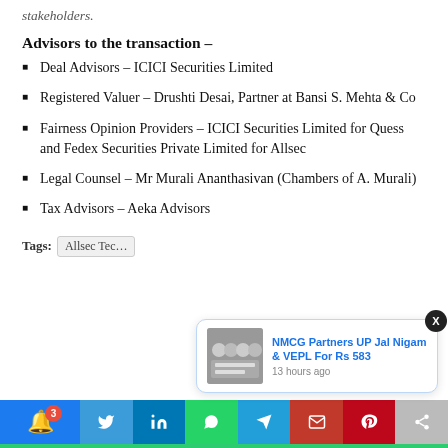stakeholders.
Advisors to the transaction –
Deal Advisors – ICICI Securities Limited
Registered Valuer – Drushti Desai, Partner at Bansi S. Mehta & Co
Fairness Opinion Providers – ICICI Securities Limited for Quess and Fedex Securities Private Limited for Allsec
Legal Counsel – Mr Murali Ananthasivan (Chambers of A. Murali)
Tax Advisors – Aeka Advisors
Tags: Allsec Tec…
[Figure (screenshot): Notification popup: NMCG Partners UP Jal Nigam & VEPL For Rs 583, 13 hours ago]
[Figure (infographic): Social sharing bar with Twitter, LinkedIn, WhatsApp, Telegram, Email, Pinterest, Share buttons]